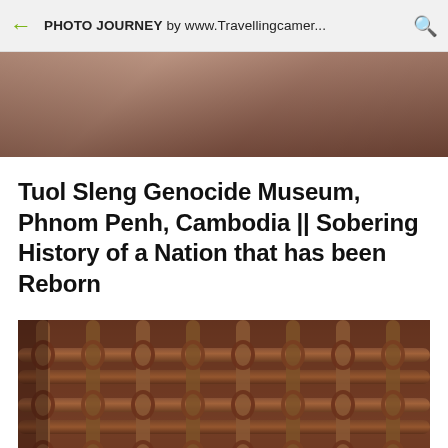PHOTO JOURNEY by www.Travellingcamer...
[Figure (photo): Blurred background hero image with brownish-red tones]
Tuol Sleng Genocide Museum, Phnom Penh, Cambodia || Sobering History of a Nation that has been Reborn
[Figure (photo): Close-up photograph of rusty barbed wire fencing with intertwined metal rods and twisted wire ties, brown and rust-colored tones]